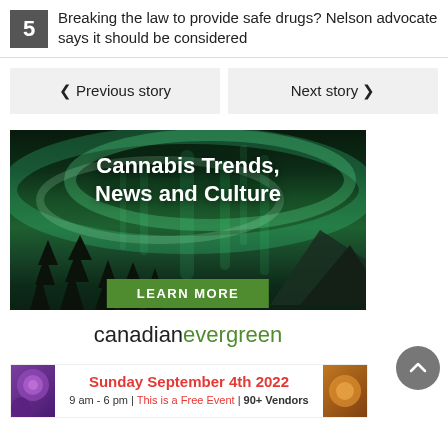5 Breaking the law to provide safe drugs? Nelson advocate says it should be considered
< Previous story
Next story >
[Figure (illustration): Advertisement for canadianevergreen showing northern lights aurora borealis background with text 'Cannabis Trends, News and Culture', a green 'LEARN MORE' button, and the brand name 'canadianevergreen' in black and green text on white background.]
[Figure (illustration): Event advertisement reading 'Sunday September 4th 2022' in red, '9 am - 6 pm | This is a Free Event | 90+ Vendors' with decorative images on sides.]